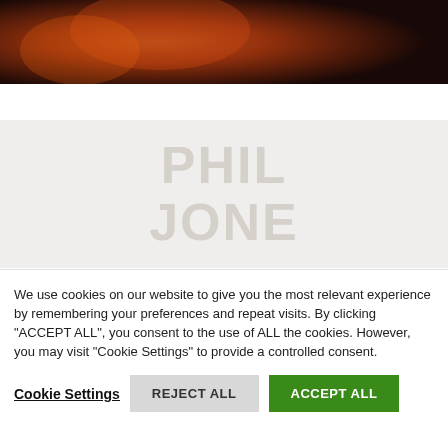[Figure (photo): Partial photo showing warm orange/red tones, appears to be a concert or performance scene, cropped at the top of the page]
Sonic Youth visit Delaware (1992)
[Figure (screenshot): Blurred/obscured background content area showing faint large text, not legible]
We use cookies on our website to give you the most relevant experience by remembering your preferences and repeat visits. By clicking "ACCEPT ALL", you consent to the use of ALL the cookies. However, you may visit "Cookie Settings" to provide a controlled consent.
Cookie Settings | REJECT ALL | ACCEPT ALL